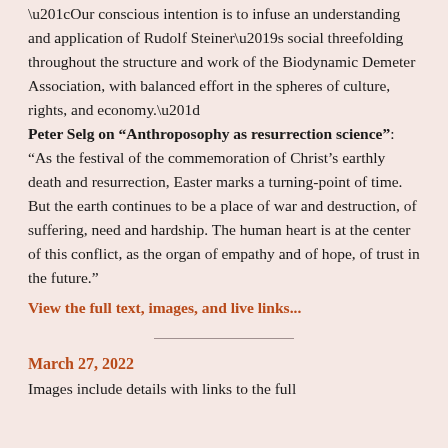“Our conscious intention is to infuse an understanding and application of Rudolf Steiner’s social threefolding throughout the structure and work of the Biodynamic Demeter Association, with balanced effort in the spheres of culture, rights, and economy.” Peter Selg on “Anthroposophy as resurrection science”: “As the festival of the commemoration of Christ’s earthly death and resurrection, Easter marks a turning-point of time. But the earth continues to be a place of war and destruction, of suffering, need and hardship. The human heart is at the center of this conflict, as the organ of empathy and of hope, of trust in the future.”
View the full text, images, and live links...
March 27, 2022
Images include details with links to the full